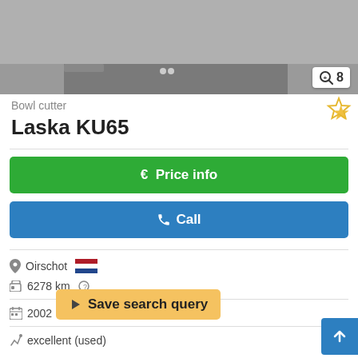[Figure (photo): Partial photo of a bowl cutter machine (Laska KU65) with a badge showing image count 8]
Bowl cutter
Laska  KU65
€ Price info
✆ Call
Oirschot [Netherlands flag]
6278 km ?
2002
excellent (used)
Product nu... number: 10473 Year of construction: 2002 Bowl 65 litres B8ggofa7mh Knife speed: 150 - 3000 RPM Bowl
◀ Save search query